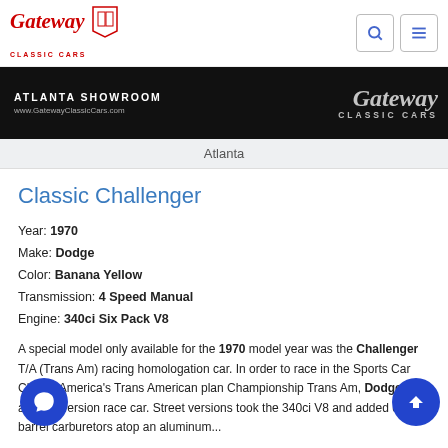Gateway Classic Cars — Atlanta Showroom — www.GatewayClassicCars.com
Atlanta
Classic Challenger
Year: 1970
Make: Dodge
Color: Banana Yellow
Transmission: 4 Speed Manual
Engine: 340ci Six Pack V8
A special model only available for the 1970 model year was the Challenger T/A (Trans Am) racing homologation car. In order to race in the Sports Car Club of America's Trans American plan Championship Trans Am, Dodge built a street version race car. Street versions took the 340ci V8 and added of two-barrel carburetors atop an aluminum...